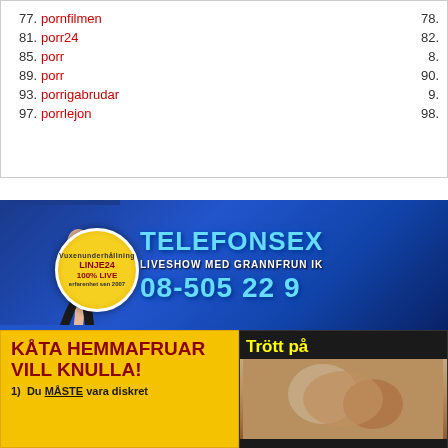77. porntimen  78.
81. porr24  82.
85. porr  8.
89. porr  90.
93. porrigabrudar  9.
97. porrlejon  98.
[Figure (photo): Telefonsex advertisement banner with blue background, female figure, gold badge with LINJE24 100% LIVE text, TELEFONSEX heading, LIVESHOW MED GRANNFRUN IK text, phone number 08-505 22 9]
[Figure (photo): Yellow advertisement: KATA HEMMAFRUAR VILL KNULLA! 1) Du MASTE vara diskret, with cartoon couple]
[Figure (photo): Dark advertisement with yellow text: Trott pa, with illustrated content]